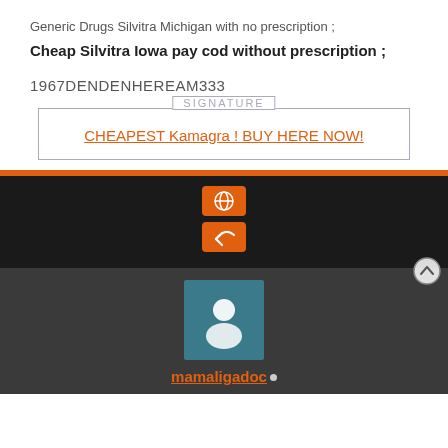Generic Drugs Silvitra Michigan with no prescription ;
Cheap Silvitra Iowa pay cod without prescription ;
1967DENDENHEREAM333
CHEAPEST Kamagra ! BUY HERE NOW!
[Figure (screenshot): Dark footer area with orange globe icon button and orange reply/back icon button, plus a scroll-up circle button]
[Figure (screenshot): Dark gray section with teal avatar/profile icon and username 'mamaligadoc' in orange underlined text with a small gray dot]